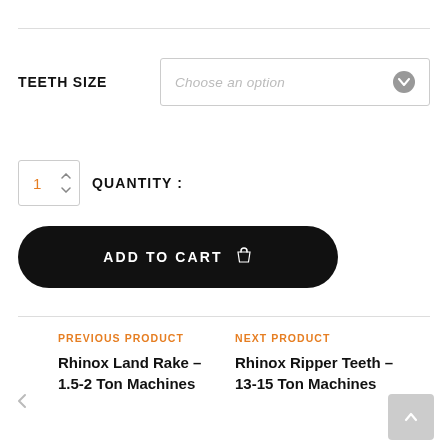TEETH SIZE
Choose an option
1  QUANTITY :
ADD TO CART
PREVIOUS PRODUCT
Rhinox Land Rake – 1.5-2 Ton Machines
NEXT PRODUCT
Rhinox Ripper Teeth – 13-15 Ton Machines